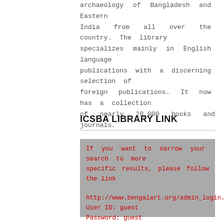archaeology of Bangladesh and Eastern India from all over the country. The library specializes mainly in English language publications with a discerning selection of foreign publications. It now has a collection of nearly 20,000 books and journals.
ICSBA LIBRARY LINK
If you want to narrow your search to more specific results, please follow the link

http://www.bengalart.org/admin_login.aspx
User ID: guest
Password: guest